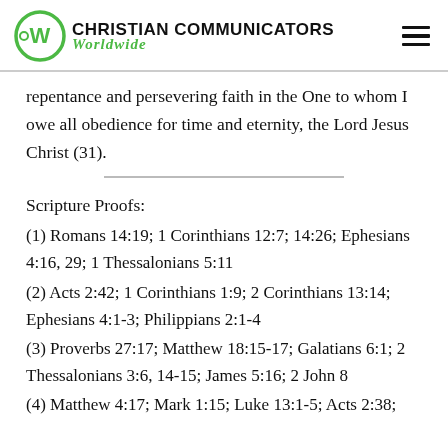Christian Communicators Worldwide
repentance and persevering faith in the One to whom I owe all obedience for time and eternity, the Lord Jesus Christ (31).
Scripture Proofs:
(1) Romans 14:19; 1 Corinthians 12:7; 14:26; Ephesians 4:16, 29; 1 Thessalonians 5:11
(2) Acts 2:42; 1 Corinthians 1:9; 2 Corinthians 13:14; Ephesians 4:1-3; Philippians 2:1-4
(3) Proverbs 27:17; Matthew 18:15-17; Galatians 6:1; 2 Thessalonians 3:6, 14-15; James 5:16; 2 John 8
(4) Matthew 4:17; Mark 1:15; Luke 13:1-5; Acts 2:38;